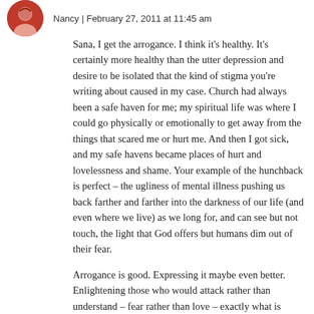Nancy | February 27, 2011 at 11:45 am
Sana, I get the arrogance. I think it's healthy. It's certainly more healthy than the utter depression and desire to be isolated that the kind of stigma you're writing about caused in my case. Church had always been a safe haven for me; my spiritual life was where I could go physically or emotionally to get away from the things that scared me or hurt me. And then I got sick, and my safe havens became places of hurt and lovelessness and shame. Your example of the hunchback is perfect – the ugliness of mental illness pushing us back farther and farther into the darkness of our life (and even where we live) as we long for, and can see but not touch, the light that God offers but humans dim out of their fear.
Arrogance is good. Expressing it maybe even better. Enlightening those who would attack rather than understand – fear rather than love – exactly what is needed…and, I've found, almost impossible to accomplish.
The good thing is that those of us who suffer in